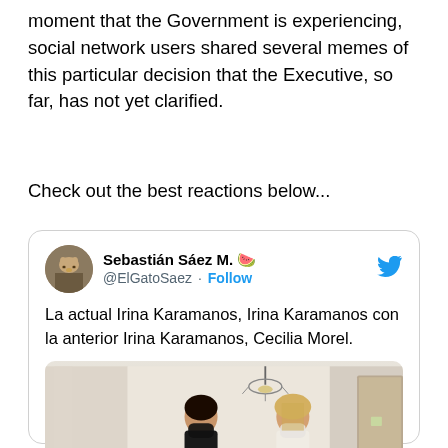moment that the Government is experiencing, social network users shared several memes of this particular decision that the Executive, so far, has not yet clarified.
Check out the best reactions below...
[Figure (screenshot): Embedded tweet from @ElGatoSaez (Sebastián Sáez M.) with text 'La actual Irina Karamanos, Irina Karamanos con la anterior Irina Karamanos, Cecilia Morel.' followed by a photo of two women wearing masks in an indoor setting.]